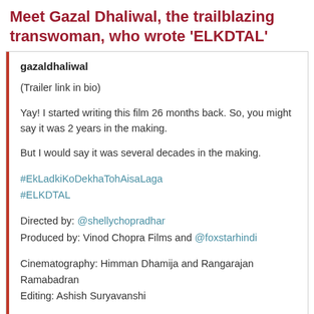Meet Gazal Dhaliwal, the trailblazing transwoman, who wrote 'ELKDTAL'
gazaldhaliwal
(Trailer link in bio)
Yay! I started writing this film 26 months back. So, you might say it was 2 years in the making.
But I would say it was several decades in the making.
#EkLadkiKoDekhaTohAisaLaga
#ELKDTAL
Directed by: @shellychopradhar
Produced by: Vinod Chopra Films and @foxstarhindi
Cinematography: Himman Dhamija and Rangarajan Ramabadran
Editing: Ashish Suryavanshi
Music: @rochakkohli
Lyrics: @ghuggss